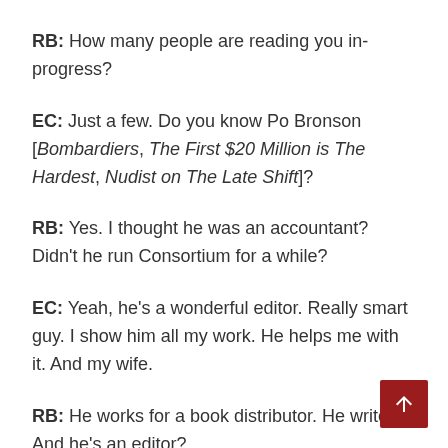RB: How many people are reading you in-progress?
EC: Just a few. Do you know Po Bronson [Bombardiers, The First $20 Million is The Hardest, Nudist on The Late Shift]?
RB: Yes. I thought he was an accountant? Didn't he run Consortium for a while?
EC: Yeah, he's a wonderful editor. Really smart guy. I show him all my work. He helps me with it. And my wife.
RB: He works for a book distributor. He writes. And he's an editor?